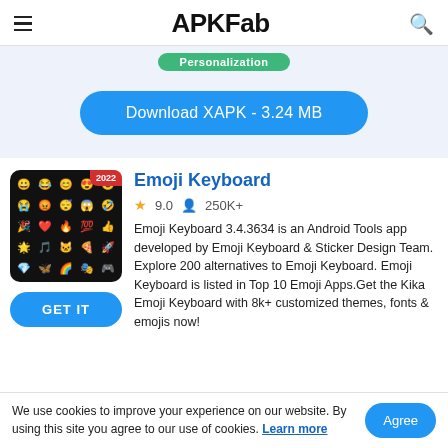APKFab
[Figure (screenshot): Green category badge reading 'Personalization']
Download XAPK - 3.24 MB
Emoji Keyboard
9.0   250K+
[Figure (photo): Emoji Keyboard app icon showing emoji grid on dark background with '2022' red badge]
GET IT
Emoji Keyboard 3.4.3634 is an Android Tools app developed by Emoji Keyboard & Sticker Design Team. Explore 200 alternatives to Emoji Keyboard. Emoji Keyboard is listed in Top 10 Emoji Apps.Get the Kika Emoji Keyboard with 8k+ customized themes, fonts & emojis now!
We use cookies to improve your experience on our website. By using this site you agree to our use of cookies. Learn more